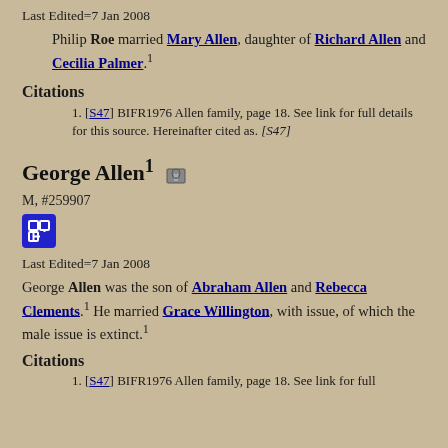Last Edited=7 Jan 2008
Philip Roe married Mary Allen, daughter of Richard Allen and Cecilia Palmer.1
Citations
[S47] BIFR1976 Allen family, page 18. See link for full details for this source. Hereinafter cited as. [S47]
George Allen1
M, #259907
Last Edited=7 Jan 2008
George Allen was the son of Abraham Allen and Rebecca Clements.1 He married Grace Willington, with issue, of which the male issue is extinct.1
Citations
[S47] BIFR1976 Allen family, page 18. See link for full